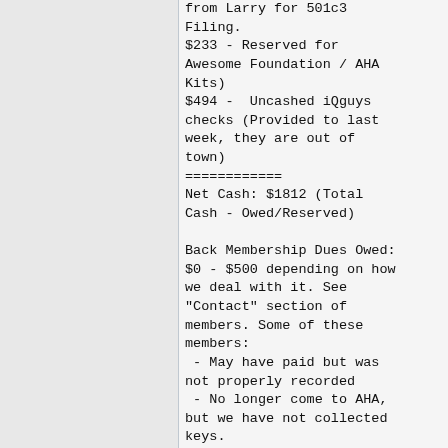from Larry for 501c3 Filing.
$233 - Reserved for Awesome Foundation / AHA Kits)
$494 -  Uncashed iQguys checks (Provided to last week, they are out of town)
============
Net Cash: $1812 (Total Cash - Owed/Reserved)

Back Membership Dues Owed: $0 - $500 depending on how we deal with it. See "Contact" section of members. Some of these members:
 - May have paid but was not properly recorded
 - No longer come to AHA, but we have not collected keys.
 - Come to AHA once ever...